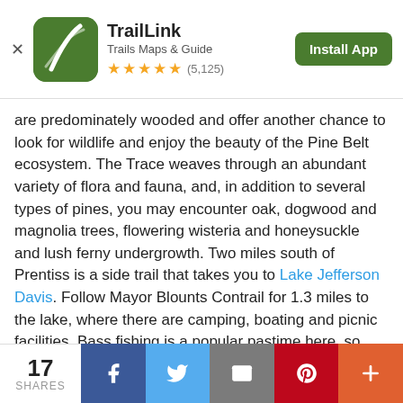[Figure (screenshot): TrailLink app banner with green icon, app name, subtitle 'Trails Maps & Guide', 5-star rating (5,125 reviews), and green 'Install App' button]
are predominately wooded and offer another chance to look for wildlife and enjoy the beauty of the Pine Belt ecosystem. The Trace weaves through an abundant variety of flora and fauna, and, in addition to several types of pines, you may encounter oak, dogwood and magnolia trees, flowering wisteria and honeysuckle and lush ferny undergrowth. Two miles south of Prentiss is a side trail that takes you to Lake Jefferson Davis. Follow Mayor Blounts Contrail for 1.3 miles to the lake, where there are camping, boating and picnic facilities. Bass fishing is a popular pastime here, so anglers will want to come prepared.
At trail's end in downtown Prentiss (mile 40.2), an attractive trailhead provides restrooms, parking and vending machines. For lodging, you'll find the Western Motel, 0.5 mile from the trailhead southwest on Columbia Ave., and the Jeffersonian Motor Inn, another 0.5 mile farther. There are several small eateries on Columbia Ave., including Country Fisherman, which serves up a
[Figure (screenshot): Bottom social share bar with share count 17, Facebook, Twitter, Email, Pinterest, and More buttons]